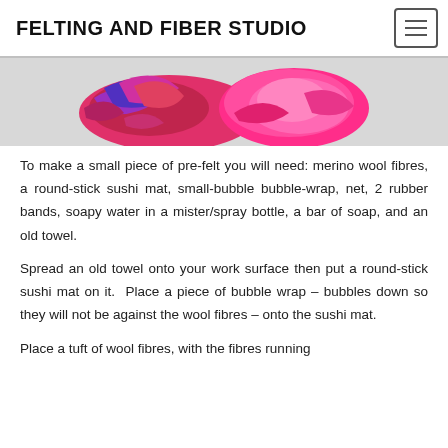FELTING AND FIBER STUDIO
[Figure (photo): Two balls of merino wool fibres — one multicolored (red, pink, purple, blue) and one bright pink — on a white surface.]
To make a small piece of pre-felt you will need: merino wool fibres, a round-stick sushi mat, small-bubble bubble-wrap, net, 2 rubber bands, soapy water in a mister/spray bottle, a bar of soap, and an old towel.
Spread an old towel onto your work surface then put a round-stick sushi mat on it.  Place a piece of bubble wrap – bubbles down so they will not be against the wool fibres – onto the sushi mat.
Place a tuft of wool fibres, with the fibres running